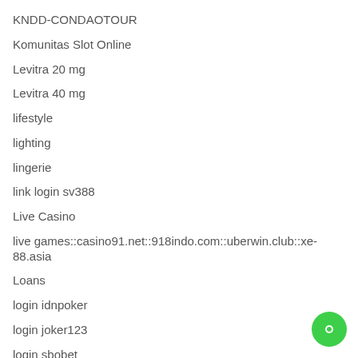KNDD-CONDAOTOUR
Komunitas Slot Online
Levitra 20 mg
Levitra 40 mg
lifestyle
lighting
lingerie
link login sv388
Live Casino
live games::casino91.net::918indo.com::uberwin.club::xe-88.asia
Loans
login idnpoker
login joker123
login sbobet